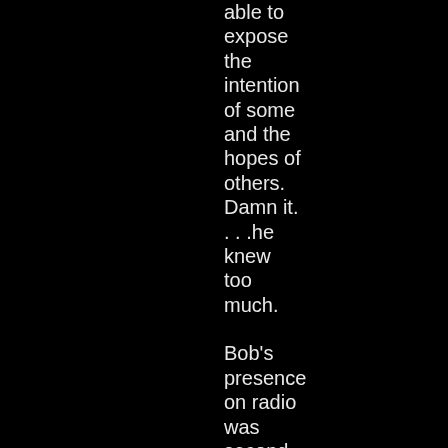able to expose the intention of some and the hopes of others. Damn it. . . .he knew too much.

Bob's presence on radio was second to none, including Neil Rogers. Both are